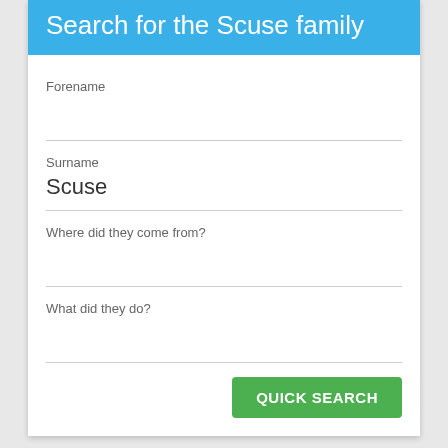Search for the Scuse family
Forename
Surname
Scuse
Where did they come from?
What did they do?
QUICK SEARCH